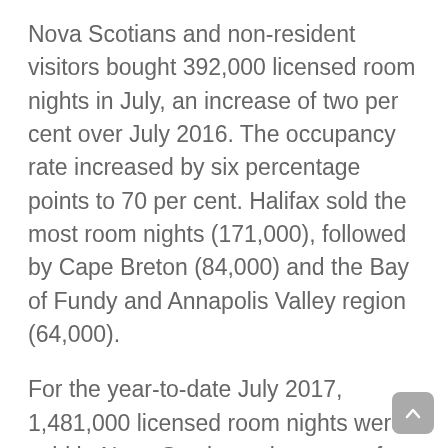Nova Scotians and non-resident visitors bought 392,000 licensed room nights in July, an increase of two per cent over July 2016. The occupancy rate increased by six percentage points to 70 per cent. Halifax sold the most room nights (171,000), followed by Cape Breton (84,000) and the Bay of Fundy and Annapolis Valley region (64,000).
For the year-to-date July 2017, 1,481,000 licensed room nights were sold in Nova Scotia, an increase of two per cent compared with the same period in 2016. The occupancy rate increased by three percentage points to 51 per cent.
The preliminary estimate of tourism revenues